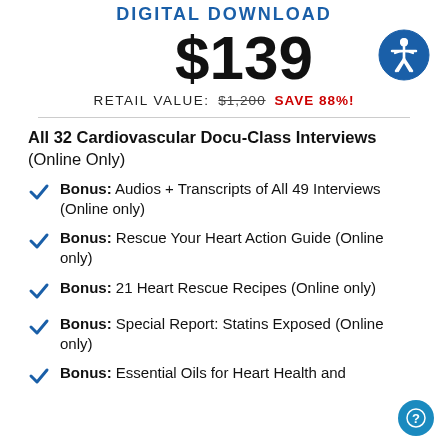DIGITAL DOWNLOAD
$139
RETAIL VALUE: $1,200 SAVE 88%!
All 32 Cardiovascular Docu-Class Interviews (Online Only)
Bonus: Audios + Transcripts of All 49 Interviews (Online only)
Bonus: Rescue Your Heart Action Guide (Online only)
Bonus: 21 Heart Rescue Recipes (Online only)
Bonus: Special Report: Statins Exposed (Online only)
Bonus: Essential Oils for Heart Health and